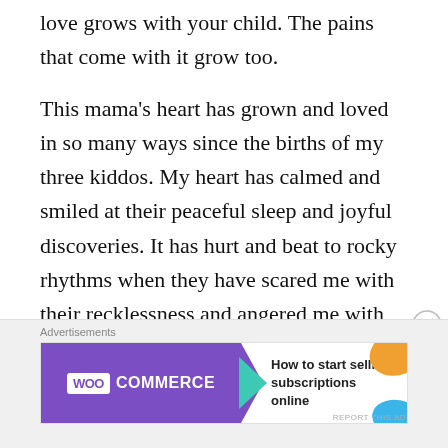love grows with your child. The pains that come with it grow too.
This mama's heart has grown and loved in so many ways since the births of my three kiddos. My heart has calmed and smiled at their peaceful sleep and joyful discoveries. It has hurt and beat to rocky rhythms when they have scared me with their recklessness and angered me with their antics.
[Figure (other): WooCommerce advertisement banner: purple background with WooCommerce logo on left with teal arrow, and text 'How to start selling subscriptions online' on right with orange decorative shape]
Advertisements